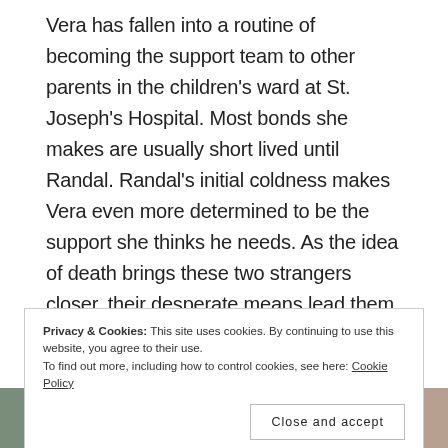Vera has fallen into a routine of becoming the support team to other parents in the children's ward at St. Joseph's Hospital. Most bonds she makes are usually short lived until Randal. Randal's initial coldness makes Vera even more determined to be the support she thinks he needs. As the idea of death brings these two strangers closer, their desperate means lead them to tragic ends.
Privacy & Cookies: This site uses cookies. By continuing to use this website, you agree to their use.
To find out more, including how to control cookies, see here: Cookie Policy
Close and accept
[Figure (photo): Two partial images side by side at the bottom of the page — left appears to be a book cover or poster, right appears to be a person with curly hair.]